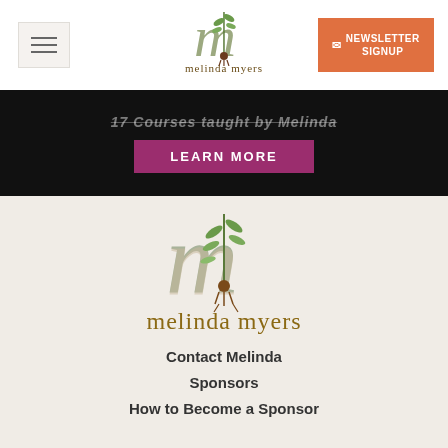[Figure (logo): Melinda Myers logo - stylized 'm' monogram with plant/root illustration and 'melinda myers' text below]
[Figure (screenshot): Black banner with partially visible strikethrough text 'Courses taught by Melinda' and a magenta 'LEARN MORE' button]
[Figure (logo): Large Melinda Myers logo on textured beige background - large 'm' monogram in sage green and tan with plant illustration]
melinda myers
Contact Melinda
Sponsors
How to Become a Sponsor